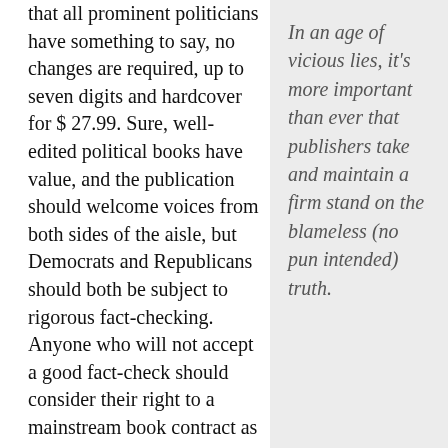that all prominent politicians have something to say, no changes are required, up to seven digits and hardcover for $ 27.99. Sure, well-edited political books have value, and the publication should welcome voices from both sides of the aisle, but Democrats and Republicans should both be subject to rigorous fact-checking. Anyone who will not accept a good fact-check should consider their right to a mainstream book contract as lost.
In an age of vicious lies, it's more important than ever that publishers take and maintain a firm stand on the blameless (no pun intended) truth.
That said, convincing the publishing industry to invest in fact checking will be a tough climb; inasmuch as Squire investigation revealed, publishers rarely agree to fund fact-checking, and even more rarely require it as a barrier to publication. Convincing the Conservatives to submit to fact-checking or hike will be even more difficult, but politics must go